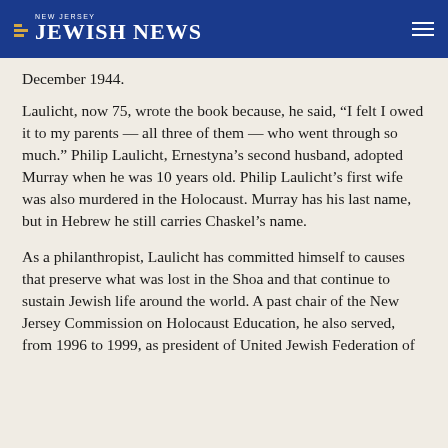NEW JERSEY JEWISH NEWS
December 1944.
Laulicht, now 75, wrote the book because, he said, “I felt I owed it to my parents — all three of them — who went through so much.” Philip Laulicht, Ernestyna’s second husband, adopted Murray when he was 10 years old. Philip Laulicht’s first wife was also murdered in the Holocaust. Murray has his last name, but in Hebrew he still carries Chaskel’s name.
As a philanthropist, Laulicht has committed himself to causes that preserve what was lost in the Shoa and that continue to sustain Jewish life around the world. A past chair of the New Jersey Commission on Holocaust Education, he also served, from 1996 to 1999, as president of United Jewish Federation of